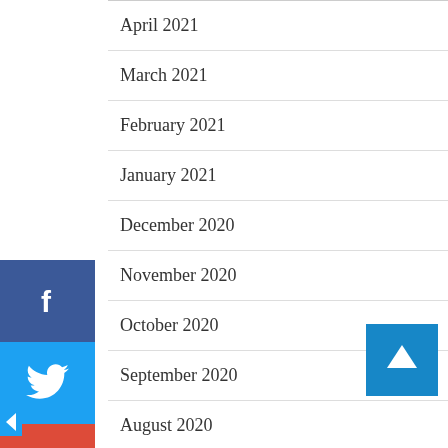April 2021
March 2021
February 2021
January 2021
December 2020
November 2020
October 2020
September 2020
August 2020
July 2020
June 2020
[Figure (infographic): Vertical social share bar with icons for Facebook, Twitter, Google+, LinkedIn, Pinterest, Reddit, StumbleUpon]